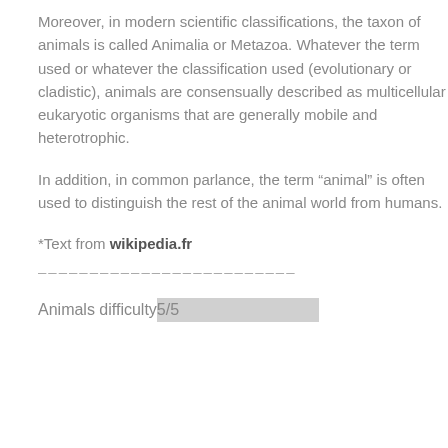Moreover, in modern scientific classifications, the taxon of animals is called Animalia or Metazoa. Whatever the term used or whatever the classification used (evolutionary or cladistic), animals are consensually described as multicellular eukaryotic organisms that are generally mobile and heterotrophic.
In addition, in common parlance, the term “animal” is often used to distinguish the rest of the animal world from humans.
*Text from wikipedia.fr
- - - - - - - - - - - - - - - - - - - - - - - - -
Animals difficulty 5/5